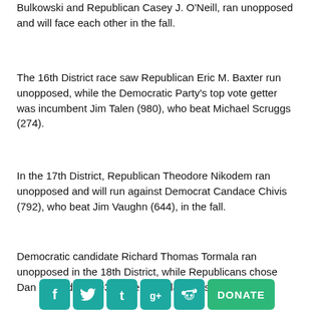Bulkowski and Republican Casey J. O'Neill, ran unopposed and will face each other in the fall.
The 16th District race saw Republican Eric M. Baxter run unopposed, while the Democratic Party's top vote getter was incumbent Jim Talen (980), who beat Michael Scruggs (274).
In the 17th District, Republican Theodore Nikodem ran unopposed and will run against Democrat Candace Chivis (792), who beat Jim Vaughn (644), in the fall.
Democratic candidate Richard Thomas Tormala ran unopposed in the 18th District, while Republicans chose Dan Koorndyk (1,934) over Shaula Johnston (851).
[Figure (infographic): Social media share icons for Facebook, Twitter, Tumblr, Google+, Reddit, and a green DONATE button]